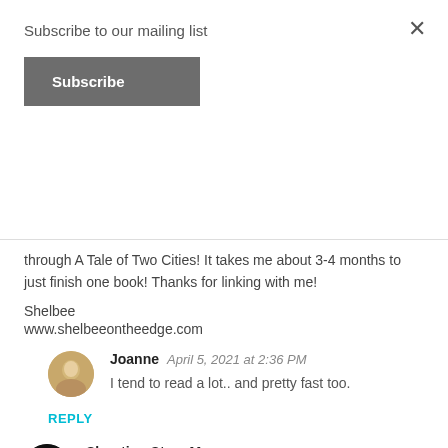Subscribe to our mailing list
Subscribe
through A Tale of Two Cities! It takes me about 3-4 months to just finish one book! Thanks for linking with me!
Shelbee
www.shelbeeontheedge.com
Joanne  April 5, 2021 at 2:36 PM
I tend to read a lot.. and pretty fast too.
REPLY
Shooting Stars Mag  April 13, 2021 at 11:17 AM
The cozy mystery series sounds really good. I loved Nevermoor and need to read the second